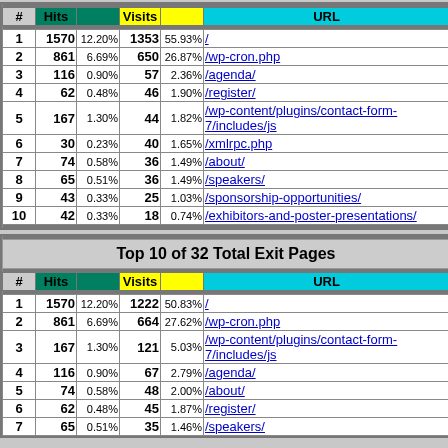| # | Hits |  | Visits |  | URL |
| --- | --- | --- | --- | --- | --- |
| 1 | 1570 | 12.20% | 1353 | 55.93% | / |
| 2 | 861 | 6.69% | 650 | 26.87% | /wp-cron.php |
| 3 | 116 | 0.90% | 57 | 2.36% | /agenda/ |
| 4 | 62 | 0.48% | 46 | 1.90% | /register/ |
| 5 | 167 | 1.30% | 44 | 1.82% | /wp-content/plugins/contact-form-7/includes/js... |
| 6 | 30 | 0.23% | 40 | 1.65% | /xmlrpc.php |
| 7 | 74 | 0.58% | 36 | 1.49% | /about/ |
| 8 | 65 | 0.51% | 36 | 1.49% | /speakers/ |
| 9 | 43 | 0.33% | 25 | 1.03% | /sponsorship-opportunities/ |
| 10 | 42 | 0.33% | 18 | 0.74% | /exhibitors-and-poster-presentations/ |
| # | Hits |  | Visits |  | URL |
| --- | --- | --- | --- | --- | --- |
| 1 | 1570 | 12.20% | 1222 | 50.83% | / |
| 2 | 861 | 6.69% | 664 | 27.62% | /wp-cron.php |
| 3 | 167 | 1.30% | 121 | 5.03% | /wp-content/plugins/contact-form-7/includes/js... |
| 4 | 116 | 0.90% | 67 | 2.79% | /agenda/ |
| 5 | 74 | 0.58% | 48 | 2.00% | /about/ |
| 6 | 62 | 0.48% | 45 | 1.87% | /register/ |
| 7 | 65 | 0.51% | 35 | 1.46% | /speakers/ |